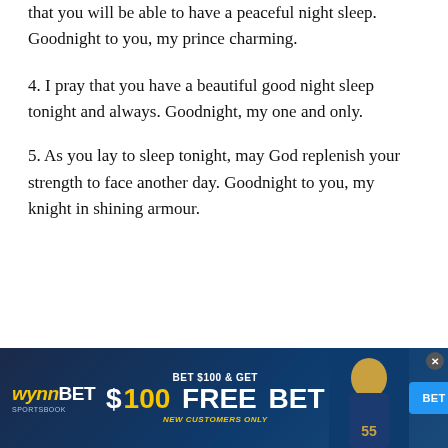that you will be able to have a peaceful night sleep. Goodnight to you, my prince charming.
4. I pray that you have a beautiful good night sleep tonight and always. Goodnight, my one and only.
5. As you lay to sleep tonight, may God replenish your strength to face another day. Goodnight to you, my knight in shining armour.
[Figure (other): Advertisement placeholder box with light gray background and border]
[Figure (other): WynnBET Sportsbook advertisement banner: BET $100 & GET $100 FREE BET, NEW CUSTOMERS ONLY, with BET NOW button and football player image]